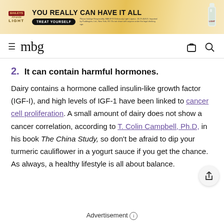[Figure (other): Baileys Almande Light advertisement banner: 'YOU REALLY CAN HAVE IT ALL' with 'TREAT YOURSELF' button and small legal text, with bottle image on right]
mbg (mindbodygreen) navigation header with hamburger menu, logo, bag icon, and search icon
2. It can contain harmful hormones.
Dairy contains a hormone called insulin-like growth factor (IGF-I), and high levels of IGF-1 have been linked to cancer cell proliferation. A small amount of dairy does not show a cancer correlation, according to T. Colin Campbell, Ph.D, in his book The China Study, so don't be afraid to dip your turmeric cauliflower in a yogurt sauce if you get the chance. As always, a healthy lifestyle is all about balance.
Advertisement ℹ